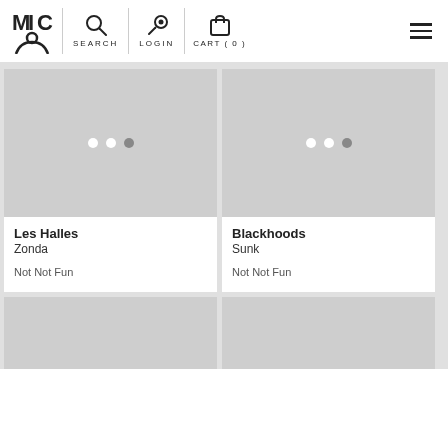MIC [logo] | SEARCH | LOGIN | CART (0) | [hamburger menu]
[Figure (screenshot): Product card with loading placeholder (grey square with three white dots) for Les Halles - Zonda, Not Not Fun]
Les Halles
Zonda

Not Not Fun
[Figure (screenshot): Product card with loading placeholder (grey square with three white dots) for Blackhoods - Sunk, Not Not Fun]
Blackhoods
Sunk

Not Not Fun
[Figure (screenshot): Partial product card placeholder at bottom left (grey square, partially cropped)]
[Figure (screenshot): Partial product card placeholder at bottom right (grey square, partially cropped)]